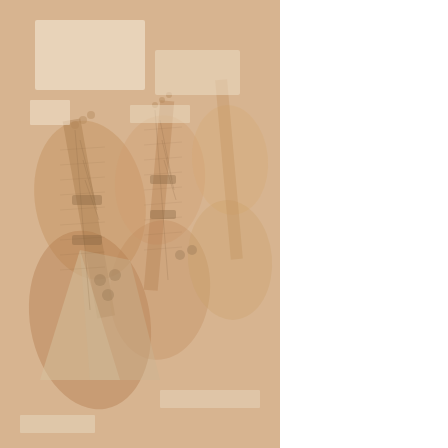[Figure (photo): Faded collage of multiple electric guitars overlapping, shown from above, in warm reddish-brown tones on left half of page]
[Figure (photo): Photo of an electric guitar (natural/cream finish, double-cutaway) lying open in a yellow/gold guitar case on a grey surface]
Like most Electras with a made by Matsumoku.
From the 1977 catalog:
[Figure (photo): Partial photo showing a close-up of a guitar body or case interior, brown/tan tones, bottom right of page]